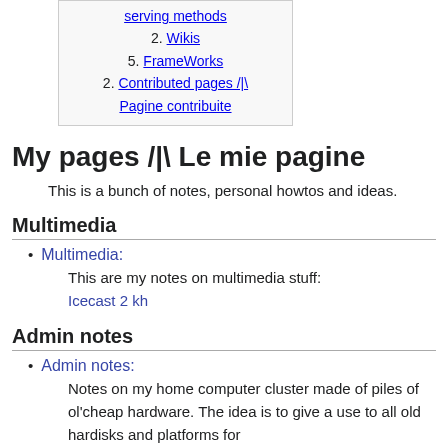serving methods
2. Wikis
5. FrameWorks
2. Contributed pages /|\ Pagine contribuite
My pages /|\ Le mie pagine
This is a bunch of notes, personal howtos and ideas.
Multimedia
Multimedia:
This are my notes on multimedia stuff: Icecast 2 kh
Admin notes
Admin notes:
Notes on my home computer cluster made of piles of ol'cheap hardware. The idea is to give a use to all old hardisks and platforms for